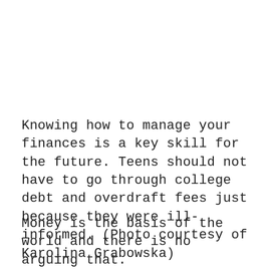Knowing how to manage your finances is a key skill for the future. Teens should not have to go through college debt and overdraft fees just because they were ill-informed. (Photo courtesy of Karolina Grabowska)
Money is the basis of the world and there is no arguing that. Unfortunately, many teenagers leave high school being entirely unprepared...